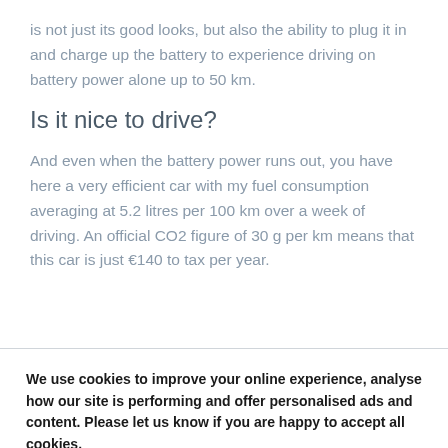is not just its good looks, but also the ability to plug it in and charge up the battery to experience driving on battery power alone up to 50 km.
Is it nice to drive?
And even when the battery power runs out, you have here a very efficient car with my fuel consumption averaging at 5.2 litres per 100 km over a week of driving. An official CO2 figure of 30 g per km means that this car is just €140 to tax per year.
We use cookies to improve your online experience, analyse how our site is performing and offer personalised ads and content. Please let us know if you are happy to accept all cookies.
Manage settings
ACCEPT